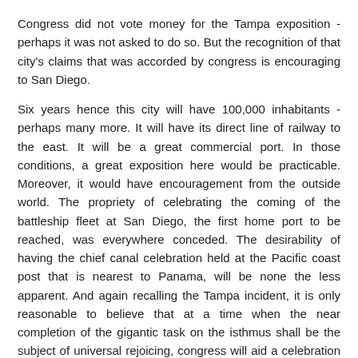Congress did not vote money for the Tampa exposition - perhaps it was not asked to do so. But the recognition of that city's claims that was accorded by congress is encouraging to San Diego.
Six years hence this city will have 100,000 inhabitants - perhaps many more. It will have its direct line of railway to the east. It will be a great commercial port. In those conditions, a great exposition here would be practicable. Moreover, it would have encouragement from the outside world. The propriety of celebrating the coming of the battleship fleet at San Diego, the first home port to be reached, was everywhere conceded. The desirability of having the chief canal celebration held at the Pacific coast post that is nearest to Panama, will be none the less apparent. And again recalling the Tampa incident, it is only reasonable to believe that at a time when the near completion of the gigantic task on the isthmus shall be the subject of universal rejoicing, congress will aid a celebration could be most fittingly held.
It is well to take this matter in hand now. As said, the practicability of the plan will become the more apparent that longer it is studied in all its phases. The present is the time to lay the foundation.